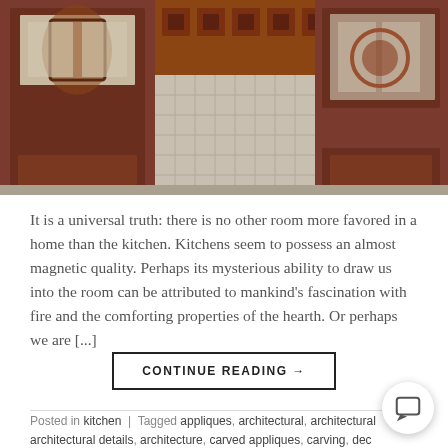[Figure (photo): Photo of wooden kitchen cabinets with carved architectural details, glass-front upper cabinets, and tiled backsplash.]
It is a universal truth: there is no other room more favored in a home than the kitchen. Kitchens seem to possess an almost magnetic quality. Perhaps its mysterious ability to draw us into the room can be attributed to mankind’s fascination with fire and the comforting properties of the hearth. Or perhaps we are […]
CONTINUE READING →
Posted in kitchen | Tagged appliques, architectural, architectural architectural details, architecture, carved appliques, carving, dec decorating, decorative details, ideas, inspiration, interior design, ir design ideas, onlays, wood appliques, wood carving, wood carvings, wood